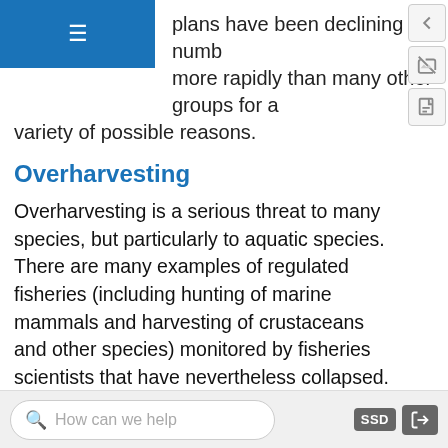plans have been declining in numbers and going more rapidly than many other groups for a variety of possible reasons.
Overharvesting
Overharvesting is a serious threat to many species, but particularly to aquatic species. There are many examples of regulated fisheries (including hunting of marine mammals and harvesting of crustaceans and other species) monitored by fisheries scientists that have nevertheless collapsed. The western Atlantic cod fishery is the most spectacular recent collapse. While it was a hugely productive fishery for 400 years, the introduction of modern factory trawlers in the 1980s and the pressure on the fishery led to it becoming
How can we help